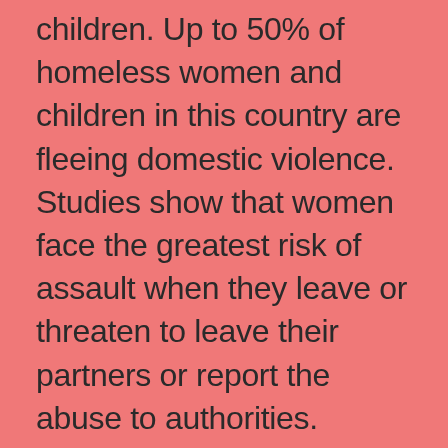children. Up to 50% of homeless women and children in this country are fleeing domestic violence. Studies show that women face the greatest risk of assault when they leave or threaten to leave their partners or report the abuse to authorities.
Abuse is a pattern of physical, sexual, economic and/or psychological violence used to get control and maintain control over an intimate partner. It is important to know that you do not deserve